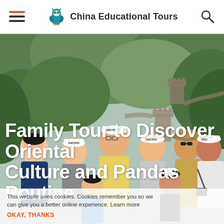China Educational Tours
[Figure (photo): Group of tourists smiling at the Great Wall of China, lush green hills and wall towers visible in background. Several people wearing SWORD caps.]
Family Tour to Discover Oriental Culture and Pandas Routine
This website uses cookies. Cookies remember you so we can give you a better online experience. Learn more
OKAY, THANKS